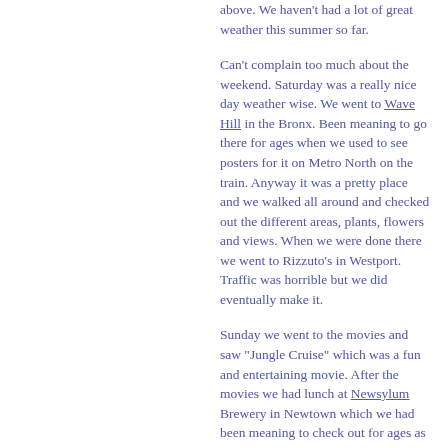above. We haven't had a lot of great weather this summer so far.
Can't complain too much about the weekend. Saturday was a really nice day weather wise. We went to Wave Hill in the Bronx. Been meaning to go there for ages when we used to see posters for it on Metro North on the train. Anyway it was a pretty place and we walked all around and checked out the different areas, plants, flowers and views. When we were done there we went to Rizzuto's in Westport. Traffic was horrible but we did eventually make it.
Sunday we went to the movies and saw "Jungle Cruise" which was a fun and entertaining movie. After the movies we had lunch at Newsylum Brewery in Newtown which we had been meaning to check out for ages as well. Delicious pizza and they had